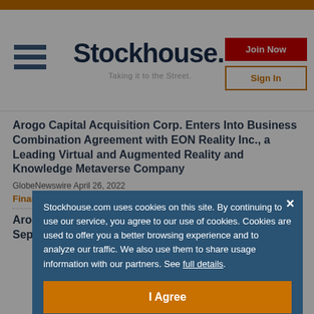[Figure (logo): Stockhouse logo with hamburger menu, robot head icon, tagline 'Taking it to the Street.', Join Now button, Sign In button]
Arogo Capital Acquisition Corp. Enters Into Business Combination Agreement with EON Reality Inc., a Leading Virtual and Augmented Reality and Knowledge Metaverse Company
GlobeNewswire April 26, 2022
Financial Services
Arogo Capital Acquisition Corp. Announces the Separate
Stockhouse.com uses cookies on this site. By continuing to use our service, you agree to our use of cookies. Cookies are used to offer you a better browsing experience and to analyze our traffic. We also use them to share usage information with our partners. See full details.
I Agree